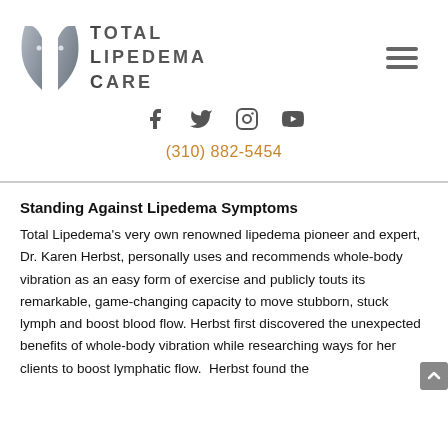[Figure (logo): Total Lipedema Care logo with stylized grey leaf/figure icon and bold spaced text reading TOTAL LIPEDEMA CARE]
[Figure (other): Hamburger menu icon (three horizontal lines)]
[Figure (other): Social media icons: Facebook, Twitter, Instagram, YouTube]
(310) 882-5454
Standing Against Lipedema Symptoms
Total Lipedema’s very own renowned lipedema pioneer and expert, Dr. Karen Herbst, personally uses and recommends whole-body vibration as an easy form of exercise and publicly touts its remarkable, game-changing capacity to move stubborn, stuck lymph and boost blood flow. Herbst first discovered the unexpected benefits of whole-body vibration while researching ways for her clients to boost lymphatic flow.  Herbst found the